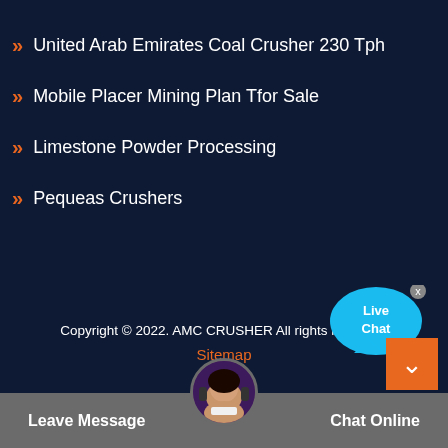United Arab Emirates Coal Crusher 230 Tph
Mobile Placer Mining Plan Tfor Sale
Limestone Powder Processing
Pequeas Crushers
[Figure (illustration): Live Chat speech bubble widget with blue bubble and white text]
Copyright © 2022. AMC CRUSHER All rights reserved.
Sitemap
[Figure (illustration): Orange back-to-top button with upward chevron arrow]
[Figure (illustration): Customer service avatar photo in circular frame]
Leave Message
Chat Online